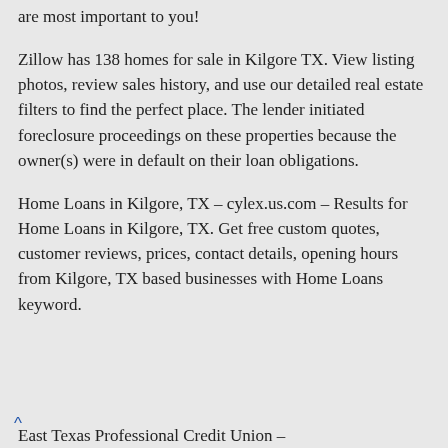are most important to you!
Zillow has 138 homes for sale in Kilgore TX. View listing photos, review sales history, and use our detailed real estate filters to find the perfect place. The lender initiated foreclosure proceedings on these properties because the owner(s) were in default on their loan obligations.
Home Loans in Kilgore, TX – cylex.us.com – Results for Home Loans in Kilgore, TX. Get free custom quotes, customer reviews, prices, contact details, opening hours from Kilgore, TX based businesses with Home Loans keyword.
East Texas Professional Credit Union –